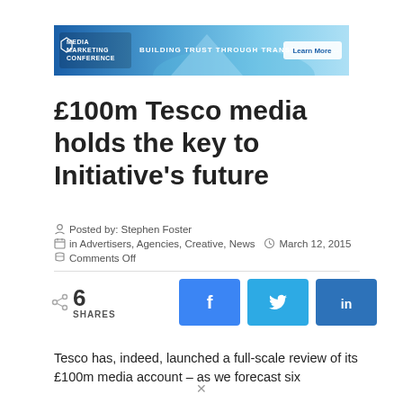[Figure (screenshot): Banner advertisement: Media Marketing Conference – Building Trust Through Transparency. Blue gradient background with iceberg image, logo on left, tagline in center, 'Learn More' button on right.]
£100m Tesco media holds the key to Initiative's future
Posted by: Stephen Foster
in Advertisers, Agencies, Creative, News   March 12, 2015
Comments Off
6 SHARES [Facebook share button] [Twitter share button] [LinkedIn share button]
Tesco has, indeed, launched a full-scale review of its £100m media account – as we forecast six